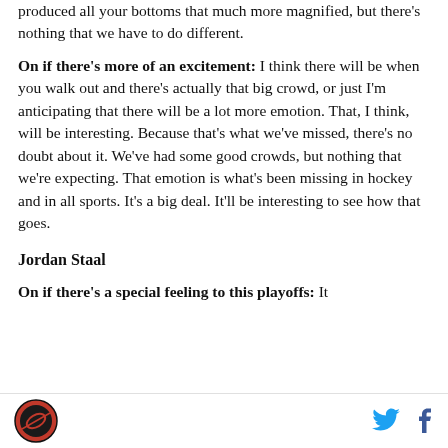produced all your bottoms that much more magnified, but there’s nothing that we have to do different.
On if there’s more of an excitement: I think there will be when you walk out and there’s actually that big crowd, or just I’m anticipating that there will be a lot more emotion. That, I think, will be interesting. Because that’s what we’ve missed, there’s no doubt about it. We’ve had some good crowds, but nothing that we’re expecting. That emotion is what’s been missing in hockey and in all sports. It’s a big deal. It’ll be interesting to see how that goes.
Jordan Staal
On if there’s a special feeling to this playoffs: It